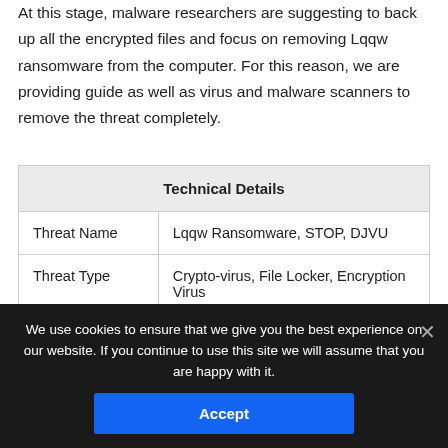At this stage, malware researchers are suggesting to back up all the encrypted files and focus on removing Lqqw ransomware from the computer. For this reason, we are providing guide as well as virus and malware scanners to remove the threat completely.
| Technical Details |
| --- |
| Threat Name | Lqqw Ransomware, STOP, DJVU |
| Threat Type | Crypto-virus, File Locker, Encryption Virus |
| File Extension | .lqqw |
| Amount |  |
| Ransomware | gradmeter |
We use cookies to ensure that we give you the best experience on our website. If you continue to use this site we will assume that you are happy with it.